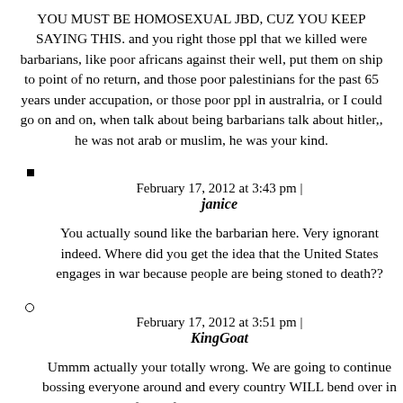YOU MUST BE HOMOSEXUAL JBD, CUZ YOU KEEP SAYING THIS. and you right those ppl that we killed were barbarians, like poor africans against their well, put them on ship to point of no return, and those poor palestinians for the past 65 years under accupation, or those poor ppl in australria, or I could go on and on, when talk about being barbarians talk about hitler,, he was not arab or muslim, he was your kind.
February 17, 2012 at 3:43 pm |
janice
You actually sound like the barbarian here. Very ignorant indeed. Where did you get the idea that the United States engages in war because people are being stoned to death??
February 17, 2012 at 3:51 pm |
KingGoat
Ummm actually your totally wrong. We are going to continue bossing everyone around and every country WILL bend over in front of us. You just sound like